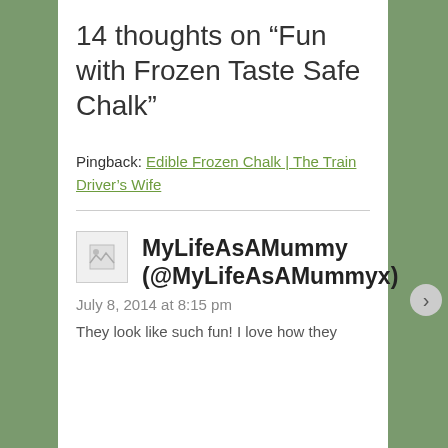14 thoughts on “Fun with Frozen Taste Safe Chalk”
Pingback: Edible Frozen Chalk | The Train Driver’s Wife
MyLifeAsAMummy (@MyLifeAsAMummyx)
July 8, 2014 at 8:15 pm
Privacy & Cookies: This site uses cookies. By continuing to use this website, you agree to their use.
To find out more, including how to control cookies, see here: Our Cookie Policy